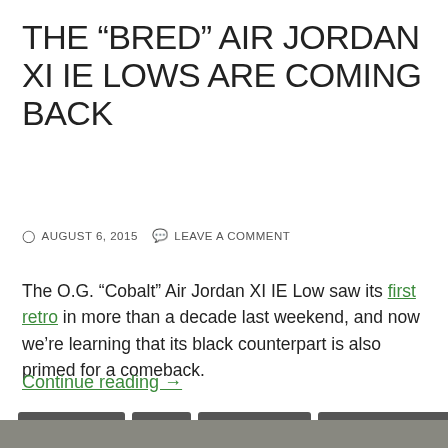THE “BRED” AIR JORDAN XI IE LOWS ARE COMING BACK
AUGUST 6, 2015   LEAVE A COMMENT
The O.G. “Cobalt” Air Jordan XI IE Low saw its first retro in more than a decade last weekend, and now we’re learning that its black counterpart is also primed for a comeback.
Continue reading →
AIR JORDAN XI
NEWS
SNEAKER NEWS
SNEAKER-RELEASES